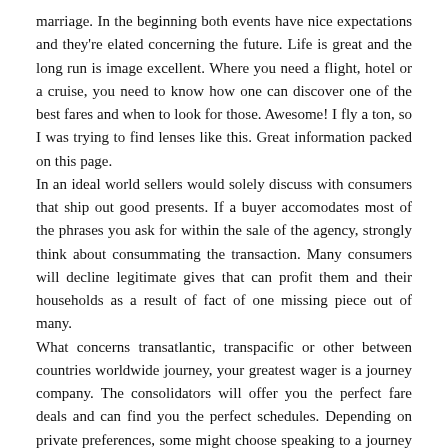marriage. In the beginning both events have nice expectations and they're elated concerning the future. Life is great and the long run is image excellent. Where you need a flight, hotel or a cruise, you need to know how one can discover one of the best fares and when to look for those. Awesome! I fly a ton, so I was trying to find lenses like this. Great information packed on this page.
In an ideal world sellers would solely discuss with consumers that ship out good presents. If a buyer accomodates most of the phrases you ask for within the sale of the agency, strongly think about consummating the transaction. Many consumers will decline legitimate gives that can profit them and their households as a result of fact of one missing piece out of many.
What concerns transatlantic, transpacific or other between countries worldwide journey, your greatest wager is a journey company. The consolidators will offer you the perfect fare deals and can find you the perfect schedules. Depending on private preferences, some might choose speaking to a journey agent, whereas others would need to do their own fare search online at their own pace. There isn't any right or unsuitable alternative here. As lengthy as you find a flight and a fare that works for you, you succeed.
Can you cancel my trip and may I even have the money paid apply